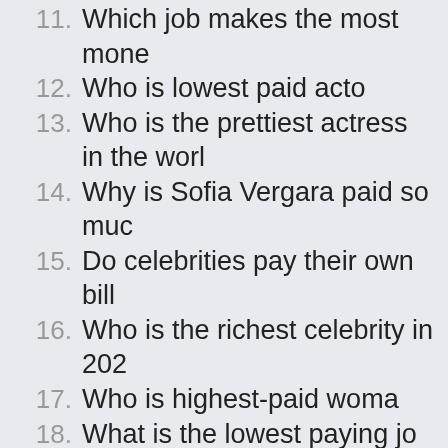11. Which job makes the most mone
12. Who is lowest paid acto
13. Who is the prettiest actress in the worl
14. Why is Sofia Vergara paid so muc
15. Do celebrities pay their own bill
16. Who is the richest celebrity in 202
17. Who is highest-paid woma
18. What is the lowest paying jo
19. Is anyone a trillionaire 202
20. Who's richer Kim Kardashian or Kanye Wes